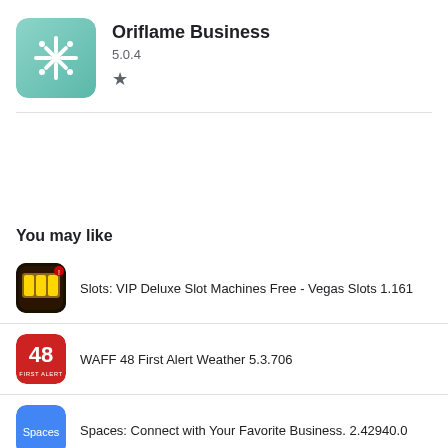Oriflame Business
5.0.4
[Figure (logo): Oriflame Business app icon - teal/mint green background with white snowflake/people pattern]
You may like
Slots: VIP Deluxe Slot Machines Free - Vegas Slots 1.161
WAFF 48 First Alert Weather 5.3.706
Spaces: Connect with Your Favorite Business. 2.42940.0
Happy New Year 2021 2.7